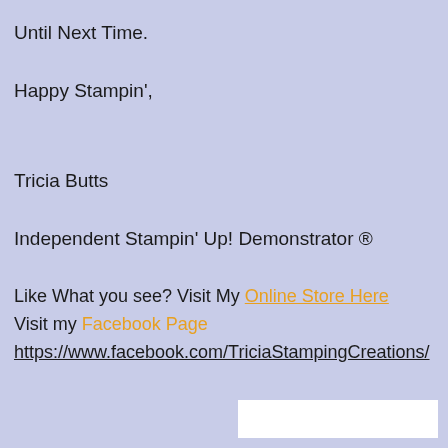Until Next Time.
Happy Stampin',
Tricia Butts
Independent Stampin' Up! Demonstrator ®
Like What you see? Visit My Online Store Here
Visit my Facebook Page
https://www.facebook.com/TriciaStampingCreations/